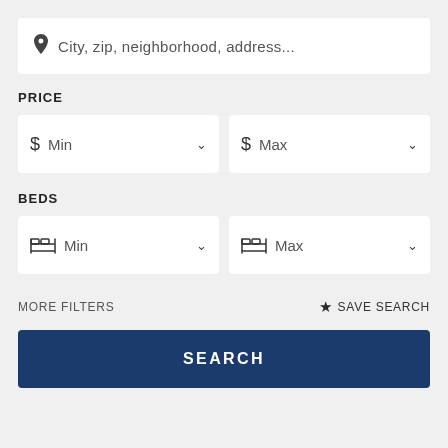City, zip, neighborhood, address...
PRICE
$ Min
$ Max
BEDS
Min
Max
MORE FILTERS
SAVE SEARCH
SEARCH